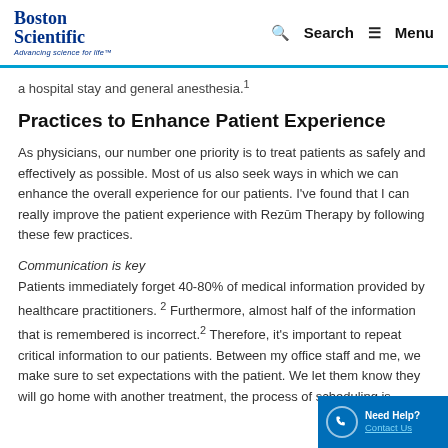Boston Scientific — Advancing science for life™ | Search | Menu
a hospital stay and general anesthesia.¹
Practices to Enhance Patient Experience
As physicians, our number one priority is to treat patients as safely and effectively as possible. Most of us also seek ways in which we can enhance the overall experience for our patients. I've found that I can really improve the patient experience with Rezūm Therapy by following these few practices.
Communication is key
Patients immediately forget 40-80% of medical information provided by healthcare practitioners.² Furthermore, almost half of the information that is remembered is incorrect.² Therefore, it's important to repeat critical information to our patients. Between my office staff and me, we make sure to set expectations with the patient. We let them know they will go home with another treatment, the process of scheduling is